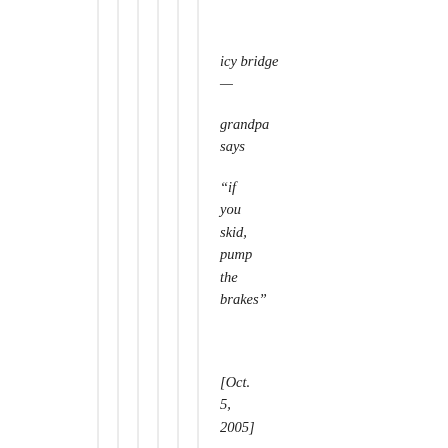icy bridge
—

grandpa
says

“if
you
skid,
pump
the
brakes”

[Oct.
5,
2005]